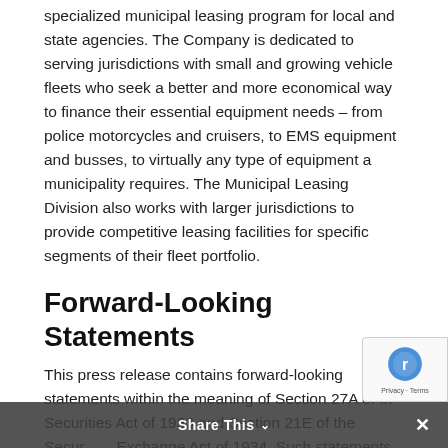specialized municipal leasing program for local and state agencies. The Company is dedicated to serving jurisdictions with small and growing vehicle fleets who seek a better and more economical way to finance their essential equipment needs – from police motorcycles and cruisers, to EMS equipment and busses, to virtually any type of equipment a municipality requires. The Municipal Leasing Division also works with larger jurisdictions to provide competitive leasing facilities for specific segments of their fleet portfolio.
Forward-Looking Statements
This press release contains forward-looking statements within the meaning of Section 27A of the Securities Act of 1933 and Section 21E of the Securities Exchange Act of 1934. Such statements are valid only as of today and we disclaim any obligation to update this information. Actual results may differ significantly